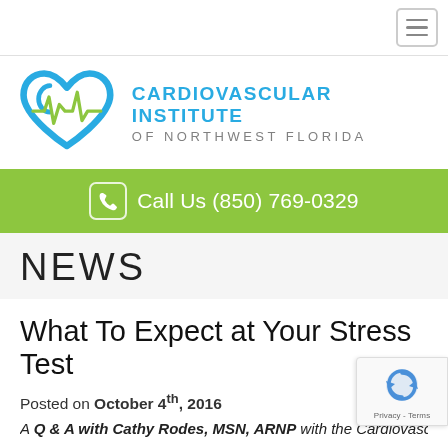[Figure (logo): Hamburger menu icon in top right corner]
[Figure (logo): Cardiovascular Institute of Northwest Florida logo — blue heart with green EKG line and teal text]
Call Us (850) 769-0329
NEWS
What To Expect at Your Stress Test
Posted on October 4th, 2016
A Q & A with Cathy Rodes, MSN, ARNP with the Cardiovascular Institute...
[Figure (other): Google reCAPTCHA badge overlay in bottom-right corner]